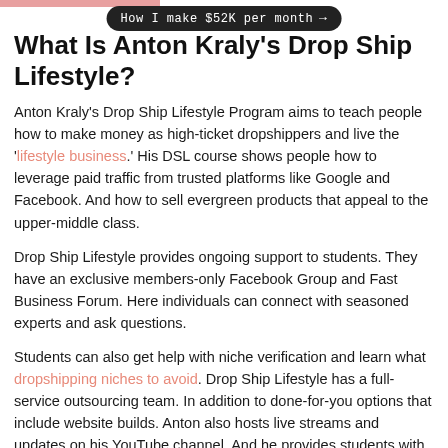How I make $52K per month →
What Is Anton Kraly's Drop Ship Lifestyle?
Anton Kraly's Drop Ship Lifestyle Program aims to teach people how to make money as high-ticket dropshippers and live the 'lifestyle business.' His DSL course shows people how to leverage paid traffic from trusted platforms like Google and Facebook. And how to sell evergreen products that appeal to the upper-middle class.
Drop Ship Lifestyle provides ongoing support to students. They have an exclusive members-only Facebook Group and Fast Business Forum. Here individuals can connect with seasoned experts and ask questions.
Students can also get help with niche verification and learn what dropshipping niches to avoid. Drop Ship Lifestyle has a full-service outsourcing team. In addition to done-for-you options that include website builds. Anton also hosts live streams and updates on his YouTube channel. And he provides students with 24/7 support.